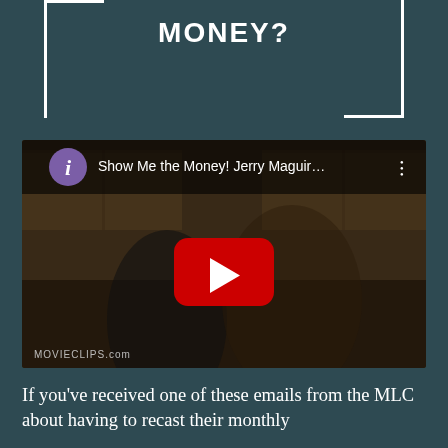MONEY?
[Figure (screenshot): YouTube video thumbnail showing 'Show Me the Money! Jerry Maguir...' with a purple circle YouTube icon, two people in a kitchen scene, and a red YouTube play button. MOVIECLIPS.com watermark at bottom left.]
If you've received one of these emails from the MLC about having to recast their monthly